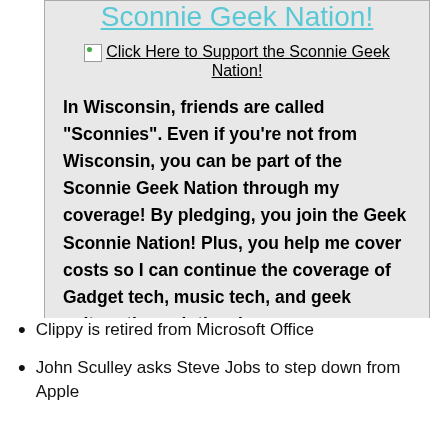Sconnie Geek Nation!
[Figure (other): Broken image icon with link text: Click Here to Support the Sconnie Geek Nation!]
In Wisconsin, friends are called "Sconnies". Even if you're not from Wisconsin, you can be part of the Sconnie Geek Nation through my coverage! By pledging, you join the Geek Sconnie Nation! Plus, you help me cover costs so I can continue the coverage of Gadget tech, music tech, and geek culture through the shows.
Clippy is retired from Microsoft Office
John Sculley asks Steve Jobs to step down from Apple